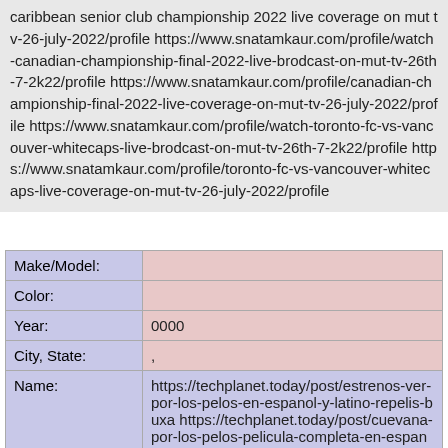caribbean senior club championship 2022 live coverage on mut tv-26-july-2022/profile https://www.snatamkaur.com/profile/watch-canadian-championship-final-2022-live-brodcast-on-mut-tv-26th-7-2k22/profile https://www.snatamkaur.com/profile/canadian-championship-final-2022-live-coverage-on-mut-tv-26-july-2022/profile https://www.snatamkaur.com/profile/watch-toronto-fc-vs-vancouver-whitecaps-live-brodcast-on-mut-tv-26th-7-2k22/profile https://www.snatamkaur.com/profile/toronto-fc-vs-vancouver-whitecaps-live-coverage-on-mut-tv-26-july-2022/profile
| Field | Value |
| --- | --- |
| Make/Model: |  |
| Color: |  |
| Year: | 0000 |
| City, State: | , |
| Name: | https://techplanet.today/post/estrenos-ver-por-los-pelos-en-espanol-y-latino-repelis-buxa https://techplanet.today/post/cuevana-por-los-pelos-pelicula-completa-en-espanol-estrenos-sabo https://techplanet.today/post/hdq-ver-pelicula-por-los-pelos-2022-online-gratis-en-espanol-y-latino- |